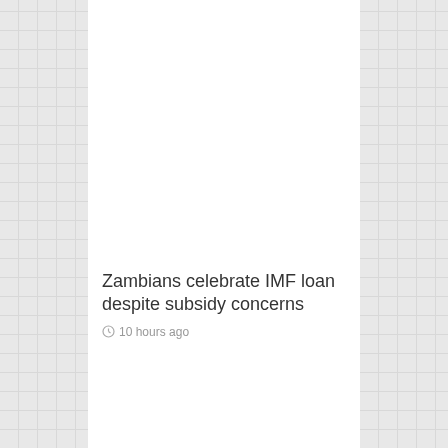Zambians celebrate IMF loan despite subsidy concerns
10 hours ago
Egypt: oil tanker blocks passage through Suez Canal
14 hours ago